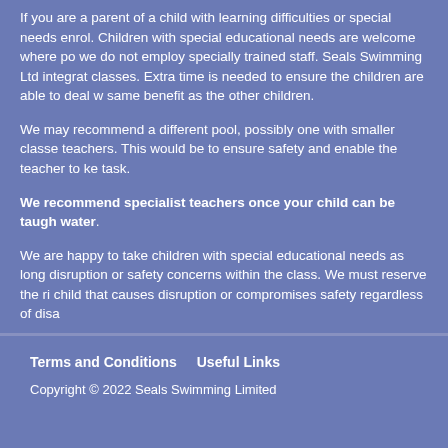If you are a parent of a child with learning difficulties or special needs enrol. Children with special educational needs are welcome where po we do not employ specially trained staff. Seals Swimming Ltd integrat classes. Extra time is needed to ensure the children are able to deal w same benefit as the other children.
We may recommend a different pool, possibly one with smaller classe teachers. This would be to ensure safety and enable the teacher to ke task.
We recommend specialist teachers once your child can be taugh water.
We are happy to take children with special educational needs as long disruption or safety concerns within the class. We must reserve the ri child that causes disruption or compromises safety regardless of disa
Safety at all times is our paramount concern.
Terms and Conditions   Useful Links
Copyright © 2022 Seals Swimming Limited